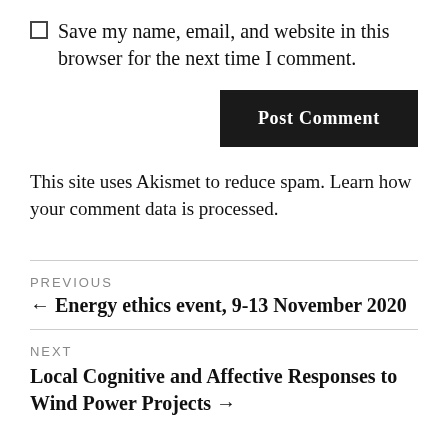Save my name, email, and website in this browser for the next time I comment.
Post Comment
This site uses Akismet to reduce spam. Learn how your comment data is processed.
PREVIOUS
← Energy ethics event, 9-13 November 2020
NEXT
Local Cognitive and Affective Responses to Wind Power Projects →